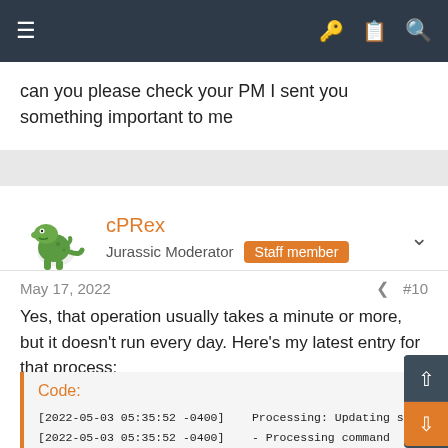Navigation bar with hamburger menu, key, list, and search icons
can you please check your PM I sent you something important to me
cPRex
Jurassic Moderator  Staff member
May 17, 2022  #10
Yes, that operation usually takes a minute or more, but it doesn't run every day. Here's my latest entry for that process:
Code:
[2022-05-03 05:35:52 -0400]    Processing: Updating se
[2022-05-03 05:35:52 -0400]    - Processing command
[2022-05-03 05:36:43 -0400]    [/usr/local/cpanel/s
[2022-05-03 05:36:43 -0400]    - Finished command /u